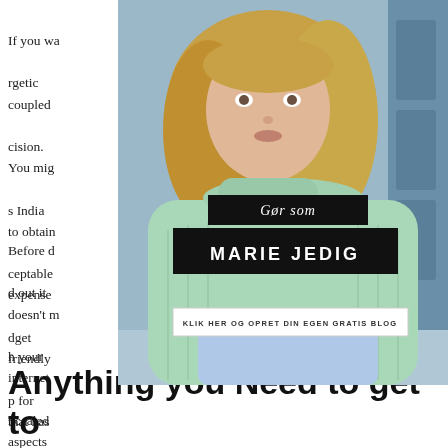If you wa... rgetic coupled... cision. You mig... s India to obtain... ceptable expense... dget friendly... p for that has...
[Figure (photo): Advertisement overlay showing a blonde woman in a mint green knit sweater standing near a train/metro platform. The ad contains text: 'Gør som' (italic) and 'MARIE JEDIG' in bold on black banners, and a white banner reading 'KLIK HER OG OPRET DIN EGEN GRATIS BLOG']
Before d... d out it doesn't m... h your internet... ncealed aspects... rb use with the... sion doing. E... epair the purpose... nt and expensive.
Anything you Need to get to try and do About CV Writing